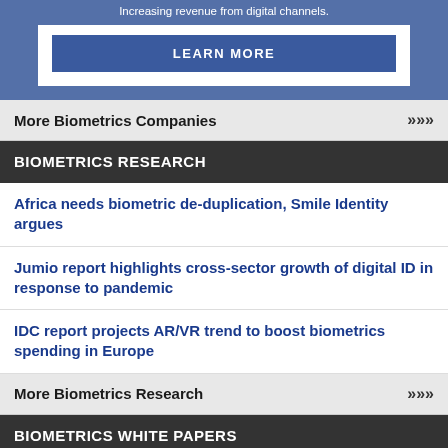[Figure (screenshot): Blue banner with white box containing a LEARN MORE button]
Increasing revenue from digital channels.
LEARN MORE
More Biometrics Companies >>>
BIOMETRICS RESEARCH
Africa needs biometric de-duplication, Smile Identity argues
Jumio report highlights cross-sector growth of digital ID in response to pandemic
IDC report projects AR/VR trend to boost biometrics spending in Europe
More Biometrics Research >>>
BIOMETRICS WHITE PAPERS
Online security best practices across the generations
How biometric technology is reinventing patient identification